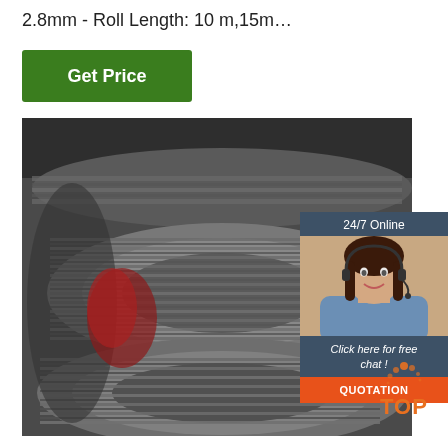2.8mm - Roll Length: 10 m,15m…
[Figure (other): Green 'Get Price' button]
[Figure (photo): Industrial wire rolls stacked in a warehouse, gray/black metal wire coils]
[Figure (other): 24/7 online chat widget with female customer service representative wearing a headset. Text: '24/7 Online', 'Click here for free chat !', 'QUOTATION' button in orange, and 'TOP' badge at bottom right.]